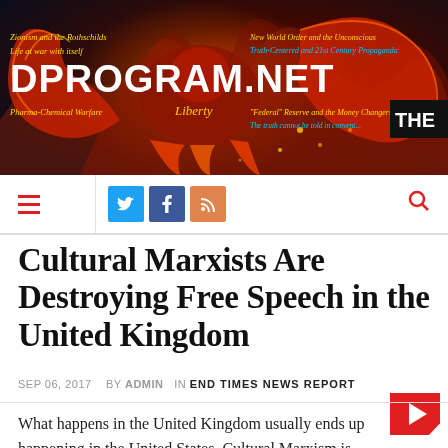[Figure (illustration): Website banner for DPROGRAM.NET featuring a phoenix (fire bird) with red and orange flames on a dark background. Overlaid text includes navigation categories such as 'Zionism and the Rothschilds', 'Life at war with itself', 'Pharma-Chemical Warfare', 'Liberty', 'New World Order and the Unconscious', 'Truth-Centered and 21st Century Propaganda', 'Federal Reserve and the Money Changers', and 'The truth cannot be told in conventional'. The site title 'DPROGRAM.NET' is prominently displayed. A 'THE' label appears in the top right corner.]
DPROGRAM.NET navigation bar with hamburger menu, Twitter, Facebook, RSS social icons, and search icon
Cultural Marxists Are Destroying Free Speech in the United Kingdom
SEP 06, 2017  by ADMIN  in END TIMES NEWS REPORT
What happens in the United Kingdom usually ends up happening in the United States. Cultural Marxism is